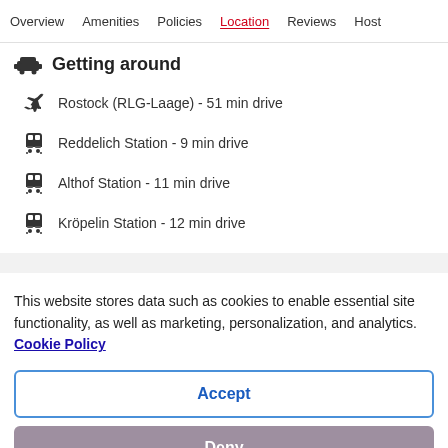Overview  Amenities  Policies  Location  Reviews  Host
Getting around
Rostock (RLG-Laage) - 51 min drive
Reddelich Station - 9 min drive
Althof Station - 11 min drive
Krö­pelin Station - 12 min drive
This website stores data such as cookies to enable essential site functionality, as well as marketing, personalization, and analytics. Cookie Policy
Accept
Deny